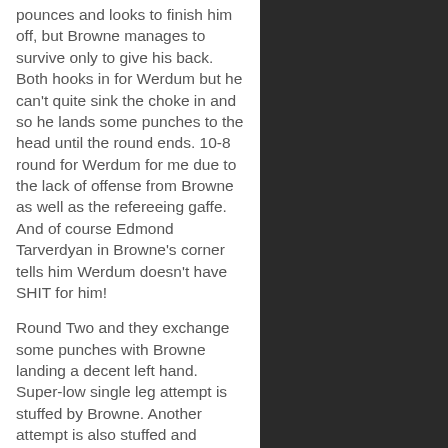pounces and looks to finish him off, but Browne manages to survive only to give his back. Both hooks in for Werdum but he can't quite sink the choke in and so he lands some punches to the head until the round ends. 10-8 round for Werdum for me due to the lack of offense from Browne as well as the refereeing gaffe. And of course Edmond Tarverdyan in Browne's corner tells him Werdum doesn't have SHIT for him!
Round Two and they exchange some punches with Browne landing a decent left hand. Super-low single leg attempt is stuffed by Browne. Another attempt is also stuffed and Werdum decides to drop to his back, which just pisses the crowd off. He gets back up though and lands with a jab and